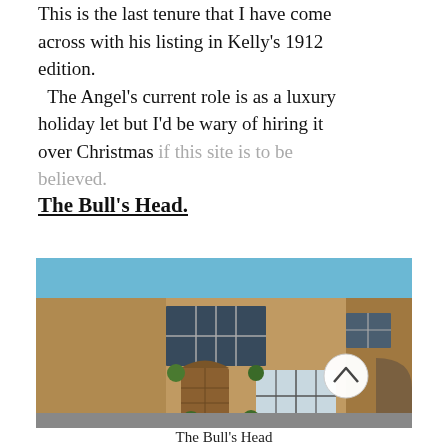This is the last tenure that I have come across with his listing in Kelly's 1912 edition.
  The Angel's current role is as a luxury holiday let but I'd be wary of hiring it over Christmas if this site is to be believed.
The Bull's Head.
[Figure (photo): Exterior photo of The Bull's Head, a stone-built building with large multi-pane windows, a wooden arched door with hanging baskets, topiary balls, and a blue sky background. A white circular scroll-to-top button is visible in the lower right of the image.]
The Bull's Head